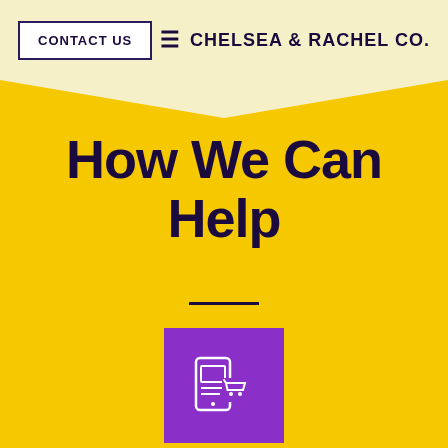CONTACT US  ≡  CHELSEA & RACHEL CO.
How We Can Help
Launching Your Online Store
Everything you need to get up and running
[Figure (illustration): Purple square icon with a mobile phone and shopping cart graphic (online store icon)]
[Figure (illustration): Purple square icon partially visible at bottom (checklist/tasks icon)]